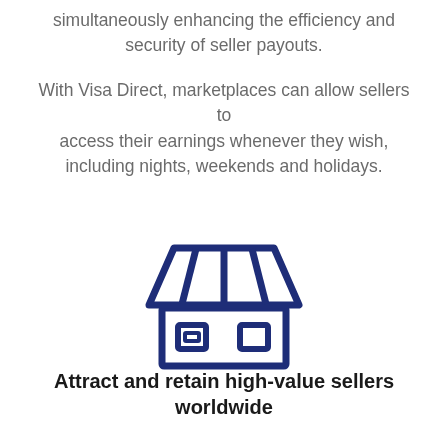simultaneously enhancing the efficiency and security of seller payouts.
With Visa Direct, marketplaces can allow sellers to access their earnings whenever they wish, including nights, weekends and holidays.
[Figure (illustration): Dark navy blue outline icon of a marketplace/shop storefront with a striped awning roof and two window/door openings at the bottom]
Attract and retain high-value sellers worldwide